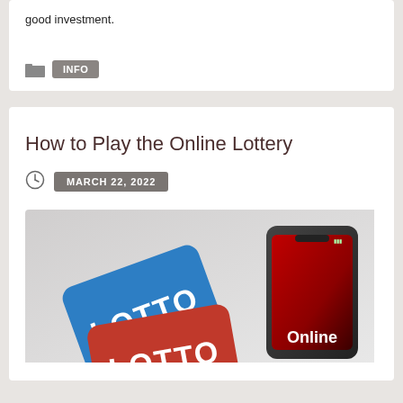good investment.
INFO
How to Play the Online Lottery
MARCH 22, 2022
[Figure (photo): Illustration showing lottery cards labeled LOTTO and a smartphone with a red screen showing the word Online, suggesting online lottery play]